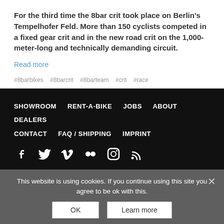For the third time the 8bar crit took place on Berlin’s Tempelhofer Feld. More than 150 cyclists competed in a fixed gear crit and in the new road crit on the 1,000-meter-long and technically demanding circuit.
Read more
#8barbikes  #8barcrit  #8barteam  #crit  #race
SHOWROOM  RENT-A-BIKE  JOBS  ABOUT  DEALERS  CONTACT  FAQ / SHIPPING  IMPRINT
[Figure (infographic): Social media icons: Facebook, Twitter, Vimeo, Flickr, Instagram, RSS]
This website is using cookies. If you continue using this site you agree to be ok with this.
PAGES
HOME